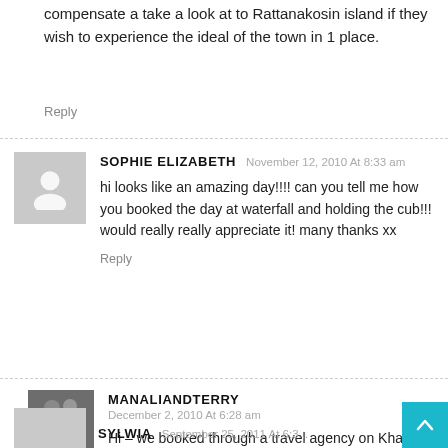compensate a take a look at to Rattanakosin island if they wish to experience the ideal of the town in 1 place.
Reply
SOPHIE ELIZABETH November 12, 2010 At 8:33 am
hi looks like an amazing day!!!! can you tell me how you booked the day at waterfall and holding the cub!!! would really really appreciate it! many thanks xx
Reply
MANALIANDTERRY
December 2, 2010 At 6:28 am
Hi – we booked through a travel agency on Khao San road – there are tons of them and they are all about the same price. Have fun!
Reply
SYLWIA